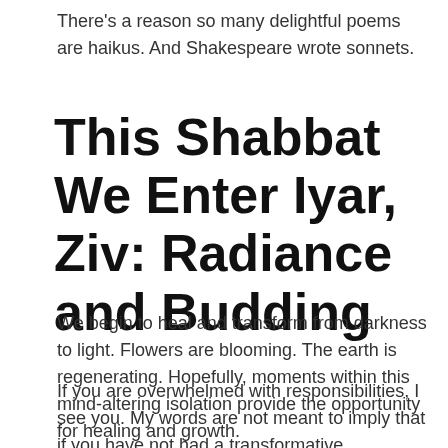There's a reason so many delightful poems are haikus. And Shakespeare wrote sonnets.
This Shabbat We Enter Iyar, Ziv: Radiance and Budding
We begin to heal and transform from darkness to light. Flowers are blooming. The earth is regenerating. Hopefully, moments within this mind-altering isolation provide the opportunity for healing and growth.
If you are overwhelmed with responsibilities, I see you. My words are not meant to imply that if you have not had a transformative experience, you're surviving a pandemic wrong. Only that it is possible to take this time out of time and refract it